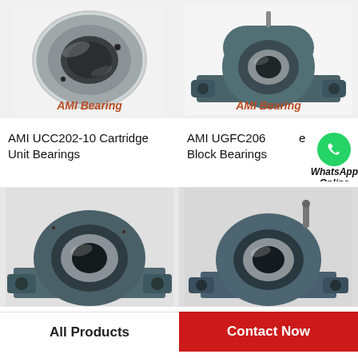[Figure (photo): AMI bearing cartridge unit - stainless steel ring bearing on white background with 'AMI Bearing' label]
[Figure (photo): AMI pillow block bearing - grey cast iron housing with 'AMI Bearing' label]
AMI UCC202-10 Cartridge Unit Bearings
AMI UGFC206 Pillow Block Bearings
[Figure (photo): Close-up of grey pillow block bearing from below/side angle]
[Figure (photo): Close-up of another pillow block bearing with grease fitting on top]
All Products
Contact Now